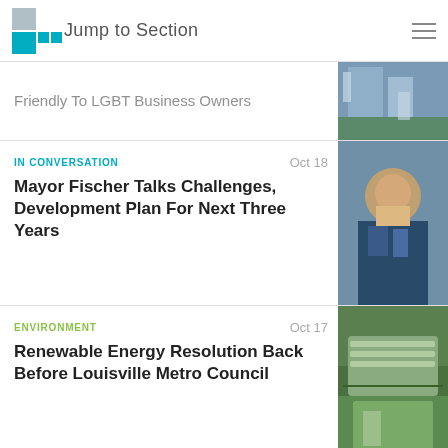Jump to Section
Friendly To LGBT Business Owners
IN CONVERSATION
Oct 18
Mayor Fischer Talks Challenges, Development Plan For Next Three Years
ENVIRONMENT
Oct 17
Renewable Energy Resolution Back Before Louisville Metro Council
COMMUNITY
Sep 25
As Another Russell Project Begins, Gentrification Concerns Prevalent